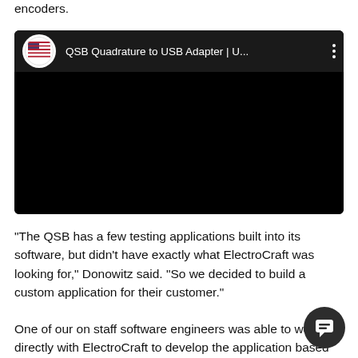encoders.
[Figure (screenshot): YouTube video thumbnail showing 'QSB Quadrature to USB Adapter | U...' with a dark/black video area and a YouTube channel logo (US flag icon) on the left of the title bar.]
“The QSB has a few testing applications built into its software, but didn’t have exactly what ElectroCraft was looking for,” Donowitz said. “So we decided to build a custom application for their customer.”
One of our on staff software engineers was able to work directly with ElectroCraft to develop the application based on